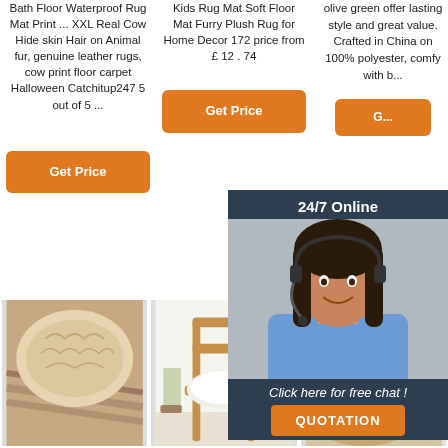Bath Floor Waterproof Rug Mat Print ... XXL Real Cow Hide skin Hair on Animal fur, genuine leather rugs, cow print floor carpet Halloween Catchitup247 5 out of 5 ...
Kids Rug Mat Soft Floor Mat Furry Plush Rug for Home Decor 172 price from £ 12 . 74
olive green offer lasting style and great value. Crafted in China on 100% polyester, comfy with b...
[Figure (other): Orange 'Get Price' button for product 2]
[Figure (other): Orange 'Get Price' button for product 1]
[Figure (other): Orange partial 'Get Price' button for product 3]
[Figure (other): 24/7 online chat overlay with female customer service agent, 'Click here for free chat!' text and orange QUOTATION button]
[Figure (photo): Fur/sheepskin rug on wooden floor]
[Figure (photo): White sheepskin chair cushion on wooden chair with plant]
[Figure (photo): Tan/beige sheepskin rug on surface with TOP badge logo overlay]